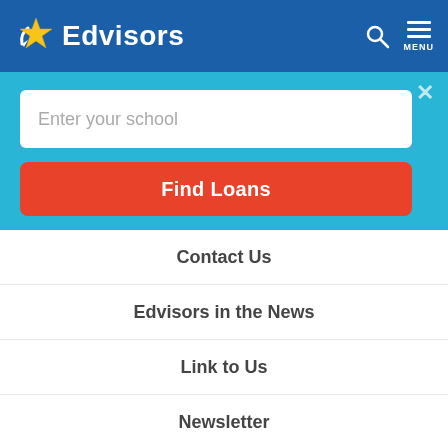Edvisors
[Figure (screenshot): Search form with 'Enter your school' input and 'Find Loans' red button on cyan background]
Contact Us
Edvisors in the News
Link to Us
Newsletter
Partners